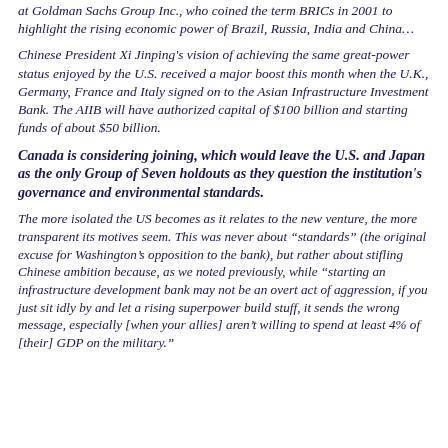at Goldman Sachs Group Inc., who coined the term BRICs in 2001 to highlight the rising economic power of Brazil, Russia, India and China…
Chinese President Xi Jinping's vision of achieving the same great-power status enjoyed by the U.S. received a major boost this month when the U.K., Germany, France and Italy signed on to the Asian Infrastructure Investment Bank. The AIIB will have authorized capital of $100 billion and starting funds of about $50 billion.
Canada is considering joining, which would leave the U.S. and Japan as the only Group of Seven holdouts as they question the institution's governance and environmental standards.
The more isolated the US becomes as it relates to the new venture, the more transparent its motives seem. This was never about “standards” (the original excuse for Washington’s opposition to the bank), but rather about stifling Chinese ambition because, as we noted previously, while “starting an infrastructure development bank may not be an overt act of aggression, if you just sit idly by and let a rising superpower build stuff, it sends the wrong message, especially [when your allies] aren’t willing to spend at least 4% of [their] GDP on the military.”